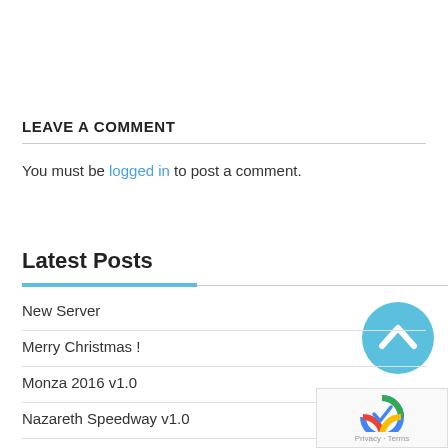LEAVE A COMMENT
You must be logged in to post a comment.
Latest Posts
New Server
Merry Christmas !
Monza 2016 v1.0
Nazareth Speedway v1.0